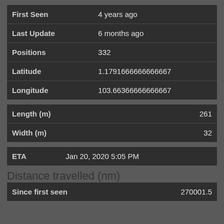| Field | Value |
| --- | --- |
| First Seen | 4 years ago |
| Last Update | 6 months ago |
| Positions | 332 |
| Latitude | 1.1791666666666667 |
| Longitude | 103.66366666666667 |
| Field | Value |
| --- | --- |
| Length (m) | 261 |
| Width (m) | 32 |
| Field | Value |
| --- | --- |
| ETA | Jan 20, 2020 5:05 PM |
Distance travelled (nm)
| Field | Value |
| --- | --- |
| Since first seen | 270001.5 |